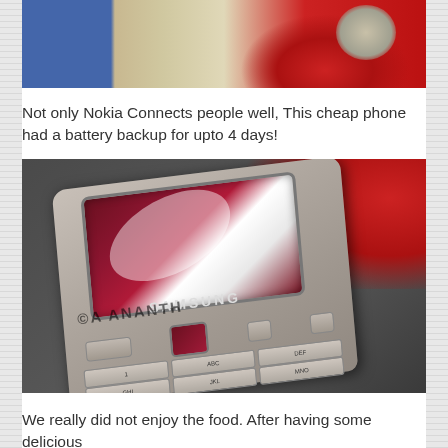[Figure (photo): Top portion of a photo showing red chairs, blue jeans, and a plate in background]
Not only Nokia Connects people well, This cheap phone had a battery backup for upto 4 days!
[Figure (photo): Close-up photo of a Samsung mobile phone with red screen and keypad, with watermark text 'ANANTH', placed on dark fabric with red chairs in background]
We really did not enjoy the food. After having some delicious